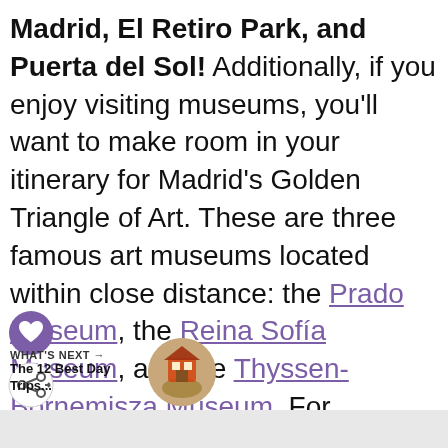Madrid, El Retiro Park, and Puerta del Sol! Additionally, if you enjoy visiting museums, you'll want to make room in your itinerary for Madrid's Golden Triangle of Art. These are three famous art museums located within close distance: the Prado Museum, the Reina Sofía Museum, and the Thyssen-Bornemisza Museum. For authentic churros and chocolate, head to Chocolatería San Ginés!
[Figure (other): Heart (save/favorite) icon and share icon overlaid on the text]
WHAT'S NEXT → The 12 Best Day Trips...
[Figure (illustration): Circular thumbnail image for 'The 12 Best Day Trips...' article]